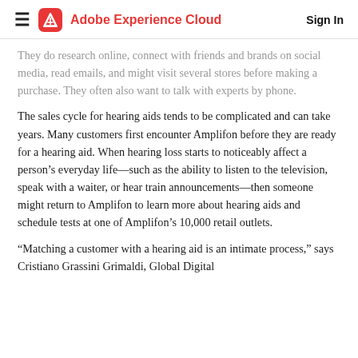Adobe Experience Cloud  Sign In
They do research online, connect with friends and brands on social media, read emails, and might visit several stores before making a purchase. They often also want to talk with experts by phone.
The sales cycle for hearing aids tends to be complicated and can take years. Many customers first encounter Amplifon before they are ready for a hearing aid. When hearing loss starts to noticeably affect a person’s everyday life—such as the ability to listen to the television, speak with a waiter, or hear train announcements—then someone might return to Amplifon to learn more about hearing aids and schedule tests at one of Amplifon’s 10,000 retail outlets.
“Matching a customer with a hearing aid is an intimate process,” says Cristiano Grassini Grimaldi, Global Digital